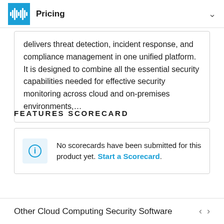Pricing
delivers threat detection, incident response, and compliance management in one unified platform. It is designed to combine all the essential security capabilities needed for effective security monitoring across cloud and on-premises environments,…
FEATURES SCORECARD
No scorecards have been submitted for this product yet. Start a Scorecard.
Other Cloud Computing Security Software